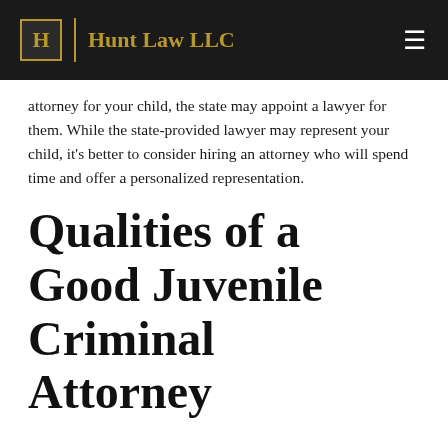Hunt Law LLC
attorney for your child, the state may appoint a lawyer for them. While the state-provided lawyer may represent your child, it's better to consider hiring an attorney who will spend time and offer a personalized representation.
Qualities of a Good Juvenile Criminal Attorney